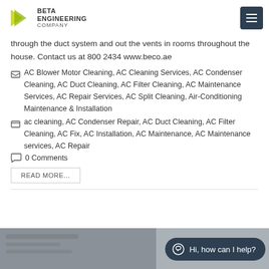BETA ENGINEERING COMPANY
through the duct system and out the vents in rooms throughout the house. Contact us at 800 2434 www.beco.ae
AC Blower Motor Cleaning, AC Cleaning Services, AC Condenser Cleaning, AC Duct Cleaning, AC Filter Cleaning, AC Maintenance Services, AC Repair Services, AC Split Cleaning, Air-Conditioning Maintenance & Installation
ac cleaning, AC Condenser Repair, AC Duct Cleaning, AC Filter Cleaning, AC Fix, AC Installation, AC Maintenance, AC Maintenance services, AC Repair
0 Comments
READ MORE...
[Figure (photo): Bottom strip showing AC maintenance work photo]